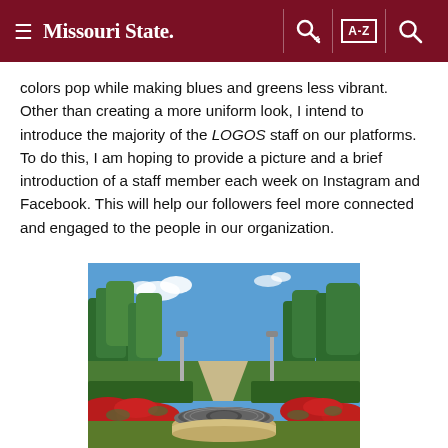Missouri State
colors pop while making blues and greens less vibrant. Other than creating a more uniform look, I intend to introduce the majority of the LOGOS staff on our platforms. To do this, I am hoping to provide a picture and a brief introduction of a staff member each week on Instagram and Facebook. This will help our followers feel more connected and engaged to the people in our organization.
[Figure (photo): Outdoor campus photo showing a Missouri State University seal embedded in a circular stone monument surrounded by red flowering plants, with trees and a blue sky in the background.]